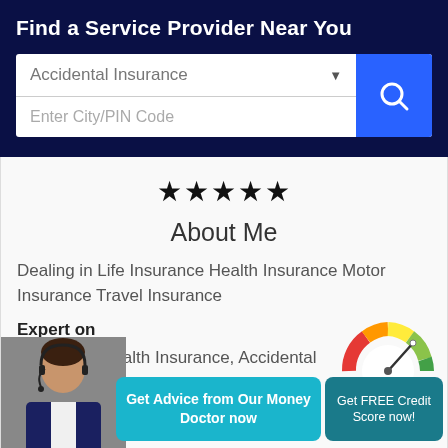Find a Service Provider Near You
Accidental Insurance
Enter City/PIN Code
★★★★★
About Me
Dealing in Life Insurance Health Insurance Motor Insurance Travel Insurance
Expert on
Insurance, Health Insurance, Accidental rance
Get Advice from Our Money Doctor now
Get FREE Credit Score now!